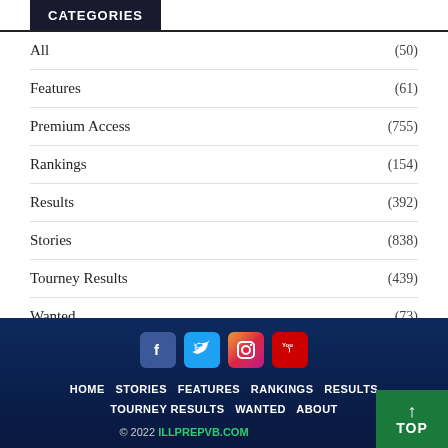CATEGORIES
All (50)
Features (61)
Premium Access (755)
Rankings (154)
Results (392)
Stories (838)
Tourney Results (439)
Wanted (73)
HOME  STORIES  FEATURES  RANKINGS  RESULTS  TOURNEY RESULTS  WANTED  ABOUT  © 2022 ILLPREPVB.COM